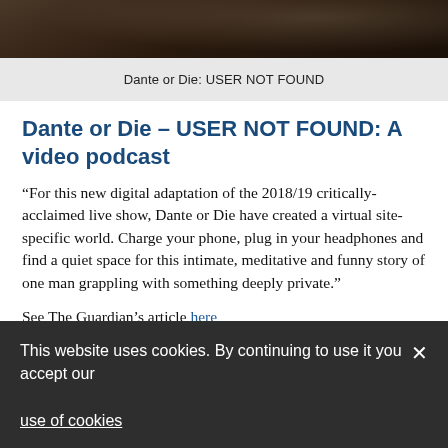[Figure (photo): Dark atmospheric photo strip showing a dimly lit interior scene, partial view of a room or cafe setting]
Dante or Die: USER NOT FOUND
Dante or Die – USER NOT FOUND: A video podcast
“For this new digital adaptation of the 2018/19 critically-acclaimed live show, Dante or Die have created a virtual site-specific world. Charge your phone, plug in your headphones and find a quiet space for this intimate, meditative and funny story of one man grappling with something deeply private.”
See The Guardian’s article here
This website uses cookies. By continuing to use it you accept our use of cookies